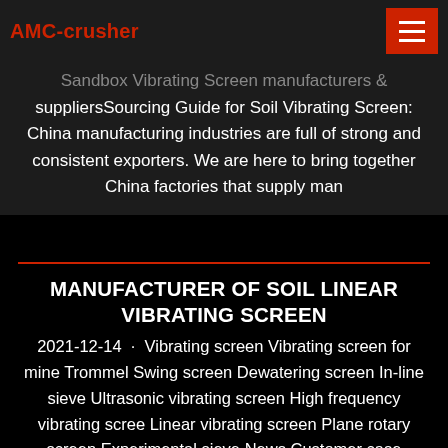AMC-crusher
Sandbox Vibrating Screen manufacturers & suppliersSourcing Guide for Soil Vibrating Screen: China manufacturing industries are full of strong and consistent exporters. We are here to bring together China factories that supply man
MANUFACTURER OF SOIL LINEAR VIBRATING SCREEN
2021-12-14  ·  Vibrating screen Vibrating screen for mine Trommel Swing screen Dewatering screen In-line sieve Ultrasonic vibrating screen High frequency vibrating scree Linear vibrating screen Plane rotary screen Experimental sieve News Customer case Contact usVibrating Screen Working PrincipleHomemade Soil Screener | . Having too many solid objects in your garden soil — rocks, sticks, roots and any